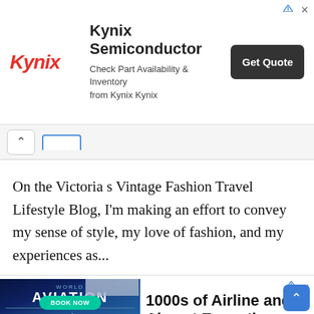[Figure (screenshot): Kynix Semiconductor advertisement banner with logo, tagline 'Check Part Availability & Inventory from Kynix Kynix', and Get Quote button]
On the Victoria s Vintage Fashion Travel Lifestyle Blog, I'm making an effort to convey my sense of style, my love of fashion, and my experiences as...
[Figure (screenshot): World Aviation Festival advertisement - left side shows dark blue banner with 'WORLD AVIATION FESTIVAL 4-6 October 2022 RAI Amsterdam CONFIRMED SPEAKER CEO IATA BOOK NOW'. Right side shows '1000s of Airline and Airport Executives already joining' with subtext 'Join 1000s Of Global Airline & Airport Executives At The Most']